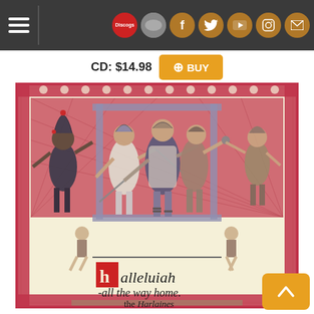Navigation bar with menu, Discogs, Last.fm, Facebook, Twitter, YouTube, Instagram, Email icons
CD: $14.98  + BUY
[Figure (illustration): Medieval-style illuminated manuscript illustration showing jesters and performers in colorful costumes with swords, a red patterned backdrop, ornate border, and calligraphic text reading 'hallelujah -all the way home.' and 'the Harlaines' at the bottom]